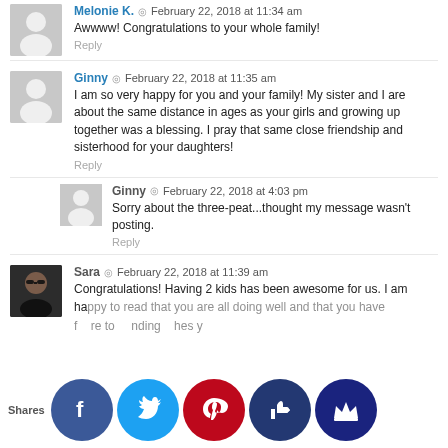Melonie K. · February 22, 2018 at 11:34 am — Awwww! Congratulations to your whole family! — Reply
Ginny · February 22, 2018 at 11:35 am — I am so very happy for you and your family! My sister and I are about the same distance in ages as your girls and growing up together was a blessing. I pray that same close friendship and sisterhood for your daughters! — Reply
Ginny · February 22, 2018 at 4:03 pm — Sorry about the three-peat...thought my message wasn't posting. — Reply
Sara · February 22, 2018 at 11:39 am — Congratulations! Having 2 kids has been awesome for us. I am happy to read that you are all doing well and that you have found care to... inding ... hes y...
[Figure (infographic): Social sharing bar with Facebook, Twitter, Pinterest, thumbs-up, and crown icon buttons. 'Shares' label on left.]